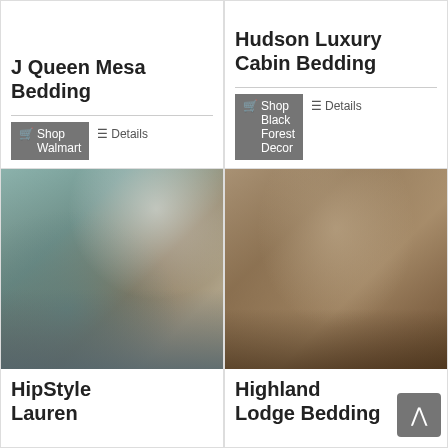J Queen Mesa Bedding
Shop Walmart
Details
Hudson Luxury Cabin Bedding
Shop Black Forest Decor
Details
[Figure (photo): HipStyle Lauren bedding set on a bed with teal/blue and brown pillows in a rustic bedroom setting]
HipStyle Lauren
[Figure (photo): Highland Lodge Bedding on a bed with brown and tan tones in a rustic wood-paneled room]
Highland Lodge Bedding